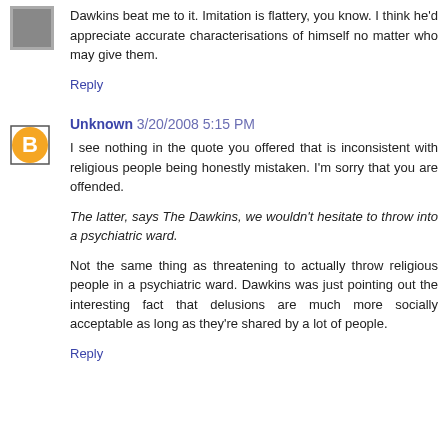Dawkins beat me to it. Imitation is flattery, you know. I think he'd appreciate accurate characterisations of himself no matter who may give them.
Reply
[Figure (other): Blogger user avatar icon - orange circle with white B letter, with a square border outline]
Unknown 3/20/2008 5:15 PM
I see nothing in the quote you offered that is inconsistent with religious people being honestly mistaken. I'm sorry that you are offended.
The latter, says The Dawkins, we wouldn't hesitate to throw into a psychiatric ward.
Not the same thing as threatening to actually throw religious people in a psychiatric ward. Dawkins was just pointing out the interesting fact that delusions are much more socially acceptable as long as they're shared by a lot of people.
Reply